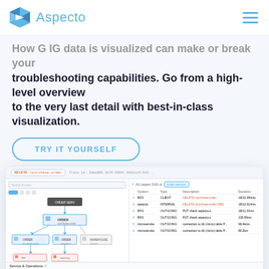Aspecto
How G IG data is visualized can make or break your troubleshooting capabilities. Go from a high-level overview to the very last detail with best-in-class visualization.
TRY IT YOURSELF
[Figure (screenshot): Screenshot of the Aspecto tracing UI showing a service dependency graph on the left and a trace table on the right with columns for System, Type, Description, Duration. The bottom shows a Service & Operations panel with horizontal purple bars representing service timelines.]